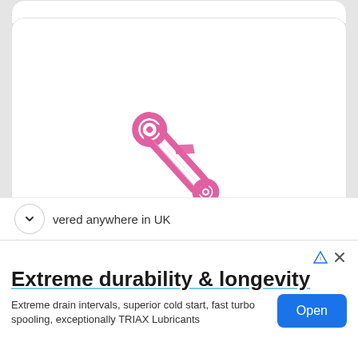[Figure (photo): Pink/metallic pink bicycle rear derailleur hanger or frame dropout component, shown at an angle on a white background]
XINGYI Libing shop Road Bike Frame Rear Cannondale
vered anywhere in UK
[Figure (infographic): Advertisement banner: 'Extreme durability & longevity' with subtext 'Extreme drain intervals, superior cold start, fast turbo spooling, exceptionally TRIAX Lubricants' and an 'Open' button]
Extreme durability & longevity
Extreme drain intervals, superior cold start, fast turbo spooling, exceptionally TRIAX Lubricants